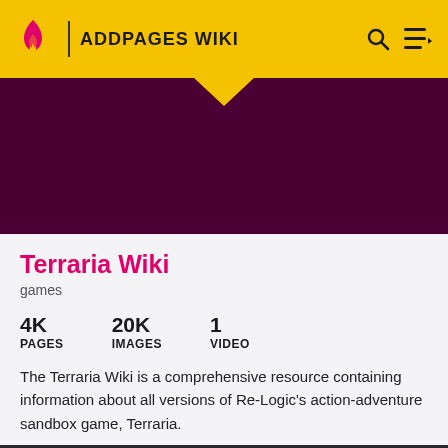ADDPAGES WIKI
[Figure (screenshot): Dark purple/maroon banner image area with a downward-pointing notch at the top center]
Terraria Wiki
games
4K PAGES   20K IMAGES   1 VIDEO
The Terraria Wiki is a comprehensive resource containing information about all versions of Re-Logic's action-adventure sandbox game, Terraria.
[Figure (logo): Best Buy advertisement banner with blue gradient background and white Best Buy logo text with yellow tag icon]